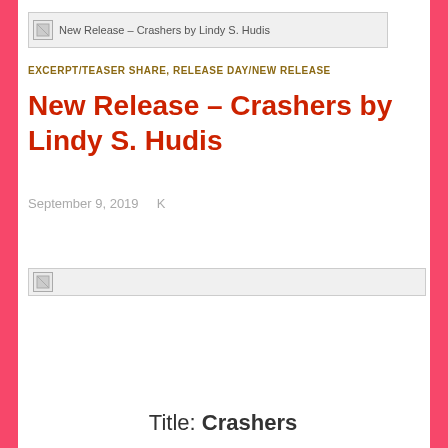[Figure (other): Broken image placeholder for 'New Release – Crashers by Lindy S. Hudis']
EXCERPT/TEASER SHARE, RELEASE DAY/NEW RELEASE
New Release – Crashers by Lindy S. Hudis
September 9, 2019    K
[Figure (other): Broken image placeholder (book cover or graphic)]
Title: Crashers